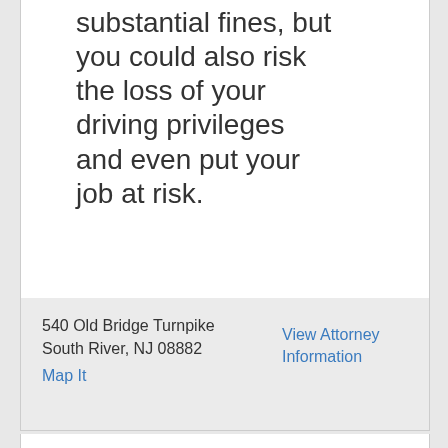substantial fines, but you could also risk the loss of your driving privileges and even put your job at risk.
540 Old Bridge Turnpike
South River, NJ 08882
Map It
View Attorney Information